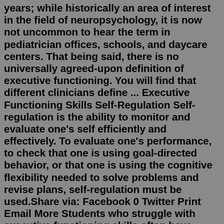years; while historically an area of interest in the field of neuropsychology, it is now not uncommon to hear the term in pediatrician offices, schools, and daycare centers. That being said, there is no universally agreed-upon definition of executive functioning. You will find that different clinicians define ... Executive Functioning Skills Self-Regulation Self-regulation is the ability to monitor and evaluate one's self efficiently and effectively. To evaluate one's performance, to check that one is using goal-directed behavior, or that one is using the cognitive flexibility needed to solve problems and revise plans, self-regulation must be used.Share via: Facebook 0 Twitter Print Email More Students who struggle with executive functioning skills often have difficulties during classroom instruction and working sessions. That is because these are times when they are extensively using skills like attention, task initiation, time management, organization, and self-control. Accommodations are supports that can be put in place to [...]Abstract. Studies indicate that executive